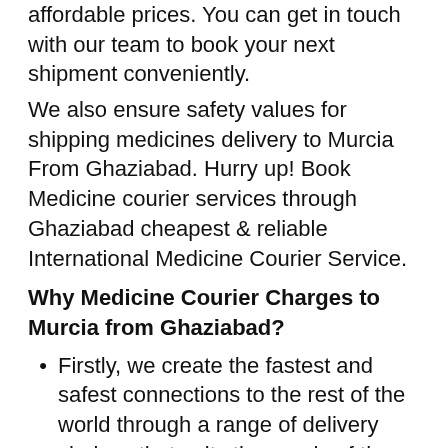affordable prices. You can get in touch with our team to book your next shipment conveniently. We also ensure safety values for shipping medicines delivery to Murcia From Ghaziabad. Hurry up! Book Medicine courier services through Ghaziabad cheapest & reliable International Medicine Courier Service.
Why Medicine Courier Charges to Murcia from Ghaziabad?
Firstly, we create the fastest and safest connections to the rest of the world through a range of delivery choices that suits the needs of the client at reasonable Medicine courier charges To Murcia from Ghaziabad
Secondly, we have strong delivery policies